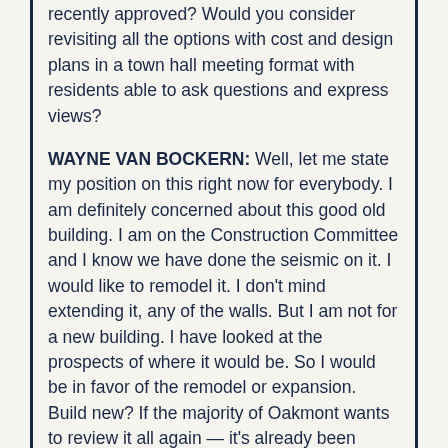recently approved?  Would you consider revisiting all the options with cost and design plans in a town hall meeting format with residents able to ask questions and express views?
WAYNE VAN BOCKERN:   Well, let me state my position on this right now for everybody. I am definitely concerned about this good old building.  I am on the Construction Committee and I know we have done the seismic on it.  I would like to remodel it.  I don't mind extending it, any of the walls.  But I am not for a new building. I have looked at the prospects of where it would be.  So I would be in favor of the remodel or expansion.  Build new?  If the majority of Oakmont wants to review it all again — it's already been passed by the Board to go ahead and start with the